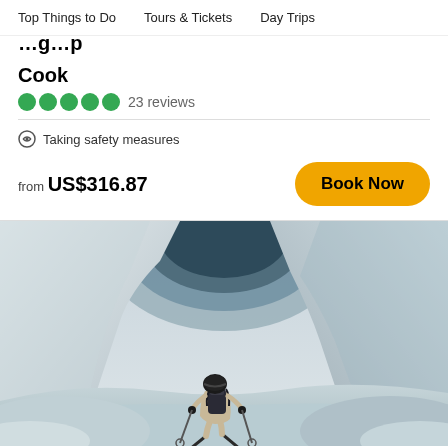Top Things to Do   Tours & Tickets   Day Trips
Cook
23 reviews
Taking safety measures
from US$316.87
Book Now
[Figure (photo): A skier in beige ski suit with a dark backpack and ski poles skiing through a dramatic snowy mountain terrain with large snow formations/ice caves on a grey/white overcast day, viewed from behind.]